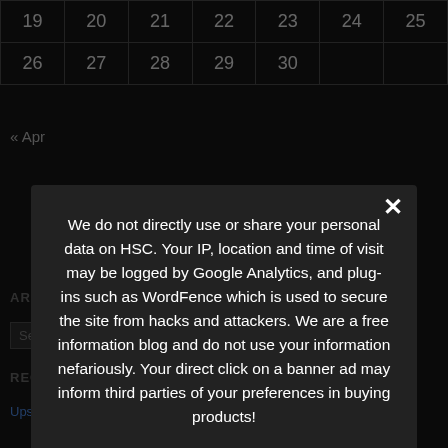| 19 | 20 | 21 | 22 | 23 | 24 | 25 |
| 26 | 27 | 28 | 29 | 30 |  |  |
« Apr
ARCHIVES
Select Month
RECENT POSTS
Upscaling high speed videos. Possible for hero 4k!
We do not directly use or share your personal data on HSC. Your IP, location and time of visit may be logged by Google Analytics, and plug-ins such as WordFence which is used to secure the site from hacks and attackers. We are a free information blog and do not use your information nefariously. Your direct click on a banner ad may inform third parties of your preferences in buying products!
Necessary
Advertising
Analytics
Other
Privacy Preferences
I Agree
Panasonic Lumix GH6 does 300fps in Full HD!
BEST SLOW MOTION C…
Chronos Camera m43 Lens A… Speedbooster Support!